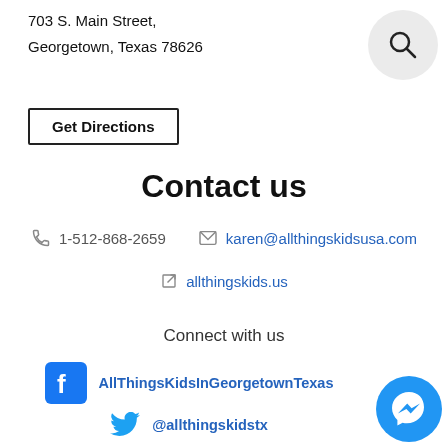703 S. Main Street,
Georgetown, Texas 78626
Get Directions
[Figure (other): Search icon inside a light gray circle]
Contact us
1-512-868-2659
karen@allthingskidsusa.com
allthingskids.us
Connect with us
AllThingsKidsInGeorgetownTexas
@allthingskidstx
[Figure (other): Facebook Messenger chat bubble icon in blue circle]